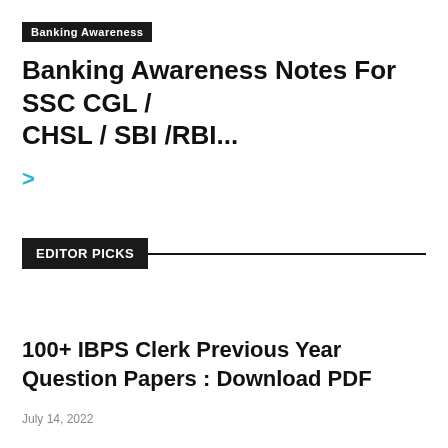Banking Awareness
Banking Awareness Notes For SSC CGL / CHSL / SBI /RBI...
>
EDITOR PICKS
100+ IBPS Clerk Previous Year Question Papers : Download PDF
July 14, 2022